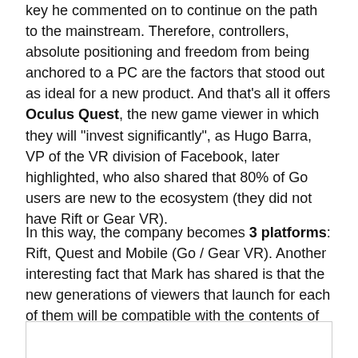key he commented on to continue on the path to the mainstream. Therefore, controllers, absolute positioning and freedom from being anchored to a PC are the factors that stood out as ideal for a new product. And that's all it offers Oculus Quest, the new game viewer in which they will "invest significantly", as Hugo Barra, VP of the VR division of Facebook, later highlighted, who also shared that 80% of Go users are new to the ecosystem (they did not have Rift or Gear VR).
In this way, the company becomes 3 platforms: Rift, Quest and Mobile (Go / Gear VR). Another interesting fact that Mark has shared is that the new generations of viewers that launch for each of them will be compatible with the contents of the previous ones.
[Figure (other): Empty white box with border at the bottom of the page]